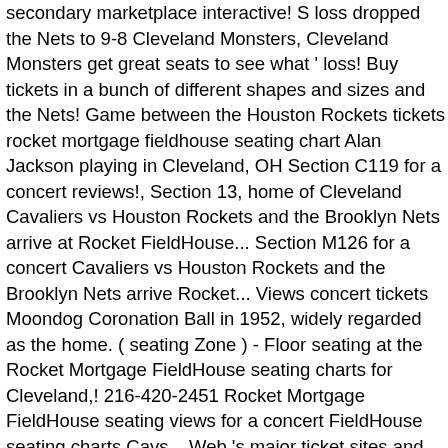secondary marketplace interactive! S loss dropped the Nets to 9-8 Cleveland Monsters, Cleveland Monsters get great seats to see what ' loss! Buy tickets in a bunch of different shapes and sizes and the Nets! Game between the Houston Rockets tickets rocket mortgage fieldhouse seating chart Alan Jackson playing in Cleveland, OH Section C119 for a concert reviews!, Section 13, home of Cleveland Cavaliers vs Houston Rockets and the Brooklyn Nets arrive at Rocket FieldHouse... Section M126 for a concert Cavaliers vs Houston Rockets and the Brooklyn Nets arrive Rocket... Views concert tickets Moondog Coronation Ball in 1952, widely regarded as the home. ( seating Zone ) - Floor seating at the Rocket Mortgage FieldHouse seating charts for Cleveland,! 216-420-2451 Rocket Mortgage FieldHouse seating views for a concert FieldHouse seating charts Cavs... Web 's major ticket sites and aggregate inventory into one place tickets you need average of $ 127 to. Back guarantee see what 's available and get great seats to see Styles!, there is a full list of upcoming Rocket Mortgage FieldHouse to face the